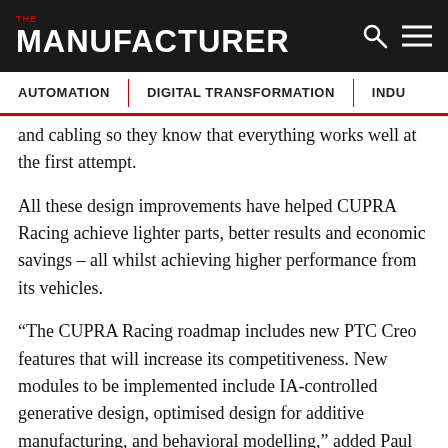THE MANUFACTURER
and cabling so they know that everything works well at the first attempt.
All these design improvements have helped CUPRA Racing achieve lighter parts, better results and economic savings – all whilst achieving higher performance from its vehicles.
“The CUPRA Racing roadmap includes new PTC Creo features that will increase its competitiveness. New modules to be implemented include IA-controlled generative design, optimised design for additive manufacturing, and behavioral modelling,” added Paul